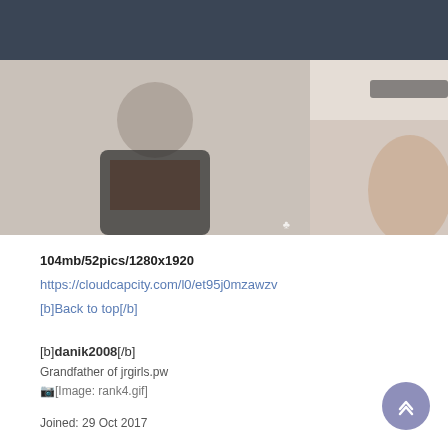[Figure (photo): Two cropped photos from a photoshoot. Left: woman in black fringe bodysuit posing against textured background with Playboy logo watermark. Right: partial view of person near a surface.]
104mb/52pics/1280x1920
https://cloudcapcity.com/l0/et95j0mzawzv
[b]Back to top[/b]
[b]danik2008[/b]
Grandfather of jrgirls.pw
[Image: rank4.gif]
Joined: 29 Oct 2017